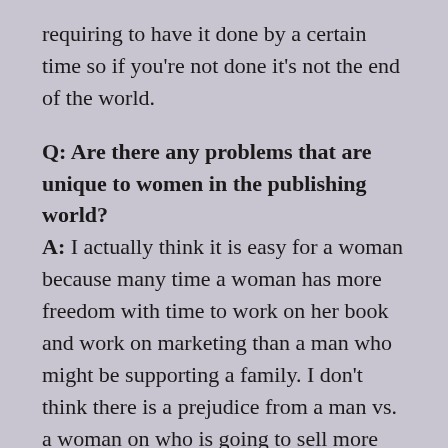requiring to have it done by a certain time so if you're not done it's not the end of the world.
Q: Are there any problems that are unique to women in the publishing world? A: I actually think it is easy for a woman because many time a woman has more freedom with time to work on her book and work on marketing than a man who might be supporting a family. I don't think there is a prejudice from a man vs. a woman on who is going to sell more books.
Q: Because we are celebrating Mother's Day this month, how do you manage your time with writing and motherhood?